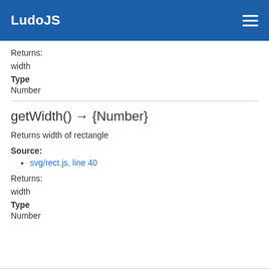LudoJS
Returns:
width
Type
Number
getWidth() → {Number}
Returns width of rectangle
Source:
svg/rect.js, line 40
Returns:
width
Type
Number